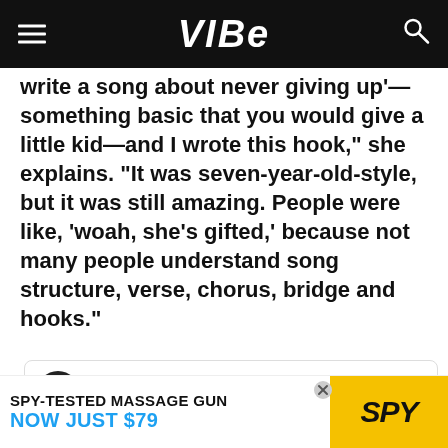VIBE
write a song about never giving up'—something basic that you would give a little kid—and I wrote this hook," she explains. "It was seven-year-old-style, but it was still amazing. People were like, 'woah, she's gifted,' because not many people understand song structure, verse, chorus, bridge and hooks."
[Figure (screenshot): Instagram/social media embed card showing hermusicofficial profile from Dubai, United Arab Emirates with a View profile button and a thumbnail image of a person wearing a traditional red and white keffiyeh headscarf against a dark background]
[Figure (infographic): Advertisement banner for SPY massage gun: SPY-TESTED MASSAGE GUN NOW JUST $79 with yellow SPY logo on right side]